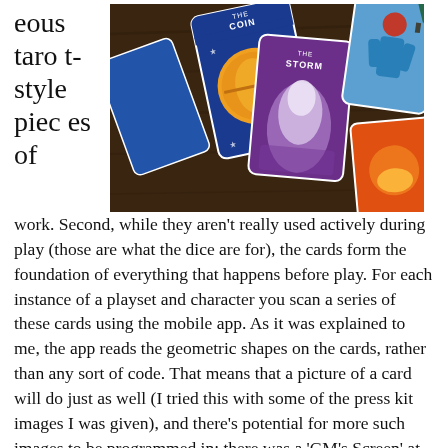eous tarot-style pieces of work.
[Figure (photo): Photograph of multiple colorful tarot-style game cards spread out on a dark wooden table. Visible cards include 'The Coin' (featuring a large orange coin) and 'The Storm' (featuring a purple/violet misty figure). Other cards with red, orange, and blue designs are partially visible around the edges.]
work. Second, while they aren't really used actively during play (those are what the dice are for), the cards form the foundation of everything that happens before play. For each instance of a playset and character you scan a series of these cards using the mobile app. As it was explained to me, the app reads the geometric shapes on the cards, rather than any sort of code. That means that a picture of a card will do just as well (I tried this with some of the press kit images I was given), and there's potential for more such images to be programmed in; there was a 'GM's Screen' at the Monocle Society Unplugged booth that I was told could be scanned to provide